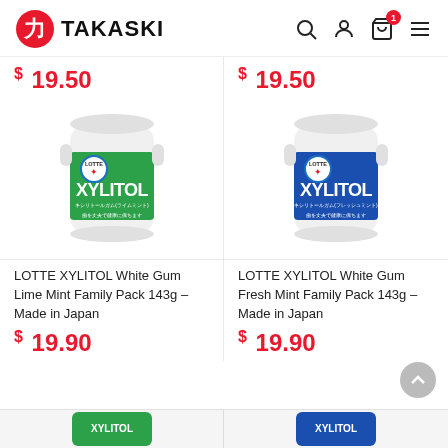TAKASKI
$ 19.50
$ 19.50
[Figure (photo): LOTTE XYLITOL White Gum Lime Mint Family Pack 143g jar with green label]
[Figure (photo): LOTTE XYLITOL White Gum Fresh Mint Family Pack 143g jar with blue label]
LOTTE XYLITOL White Gum Lime Mint Family Pack 143g – Made in Japan
LOTTE XYLITOL White Gum Fresh Mint Family Pack 143g – Made in Japan
$ 19.90
$ 19.90